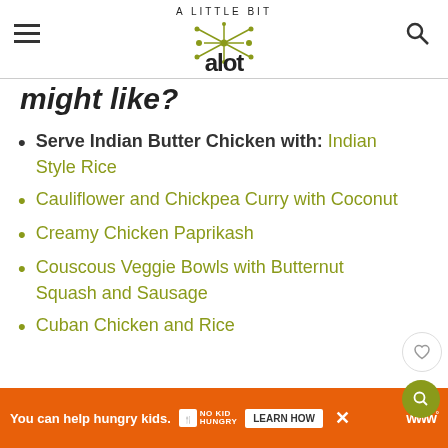A Little Bit A Lot
might like?
Serve Indian Butter Chicken with: Indian Style Rice
Cauliflower and Chickpea Curry with Coconut
Creamy Chicken Paprikash
Couscous Veggie Bowls with Butternut Squash and Sausage
Cuban Chicken and Rice
You can help hungry kids. NO KID HUNGRY LEARN HOW